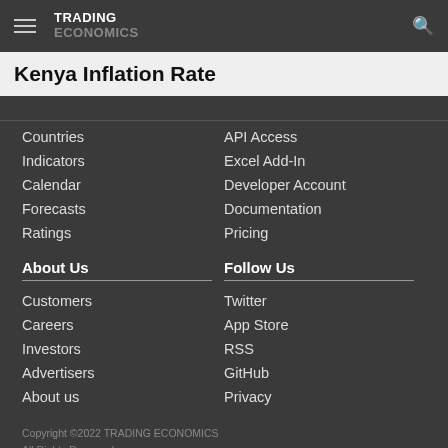TRADING ECONOMICS
Kenya Inflation Rate
Countries
API Access
Indicators
Excel Add-In
Calendar
Developer Account
Forecasts
Documentation
Ratings
Pricing
About Us
Follow Us
Customers
Twitter
Careers
App Store
Investors
RSS
Advertisers
GitHub
About us
Privacy
Copyright ©2022 TRADING ECONOMICS
All Rights Reserved